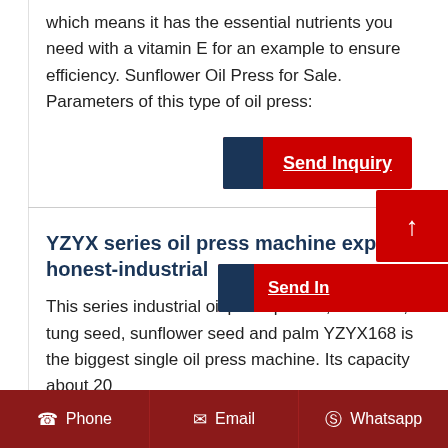which means it has the essential nutrients you need with a vitamin E for an example to ensure efficiency. Sunflower Oil Press for Sale. Parameters of this type of oil press:
[Figure (other): Send Inquiry button with dark blue tab and red background]
YZYX series oil press machine expeller | honest-industrial
This series industrial oil press peanut, flax seed, tung seed, sunflower seed and palm YZYX168 is the biggest single oil press machine. Its capacity about 20
[Figure (other): Send Inquiry button (partially visible) with blue tab and red background, and scroll-to-top red button with up arrow]
Phone   Email   Whatsapp